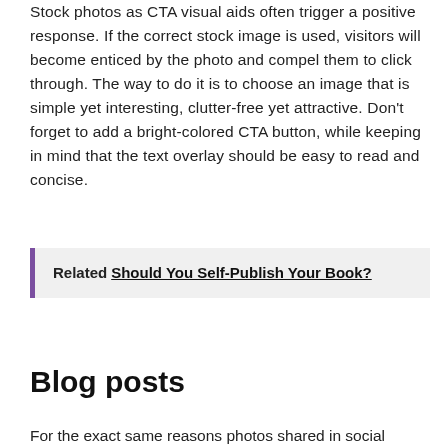Stock photos as CTA visual aids often trigger a positive response. If the correct stock image is used, visitors will become enticed by the photo and compel them to click through. The way to do it is to choose an image that is simple yet interesting, clutter-free yet attractive. Don't forget to add a bright-colored CTA button, while keeping in mind that the text overlay should be easy to read and concise.
Related  Should You Self-Publish Your Book?
Blog posts
For the exact same reasons photos shared in social